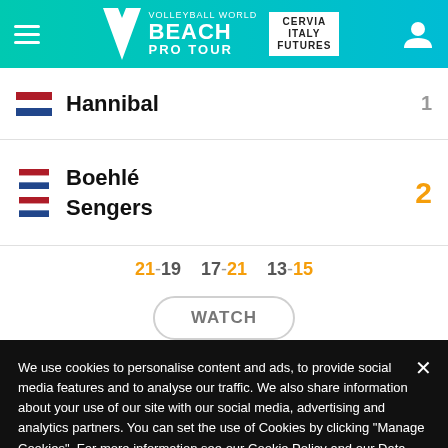[Figure (screenshot): Volleyball World Beach Pro Tour header with logo, Cervia Italy Futures location, hamburger menu and user icon on teal/cyan gradient background]
Hannibal
Boehlé
Sengers
21-19  17-21  13-15
WATCH
We use cookies to personalise content and ads, to provide social media features and to analyse our traffic. We also share information about your use of our site with our social media, advertising and analytics partners. You can set the use of Cookies by clicking "Manage Cookies". For more information see our Cookie Policy and our Data Protection Information.  Cookie Policy
Manage Cookies
Accept All